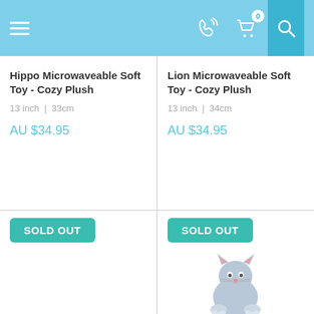Navigation header with hamburger menu, phone icon, cart (0), and search
Hippo Microwaveable Soft Toy - Cozy Plush
13 inch | 33cm
AU $34.95
Lion Microwaveable Soft Toy - Cozy Plush
13 inch | 34cm
AU $34.95
SOLD OUT
Seal Microwaveable Soft Toy - Cozy Plush
[Figure (photo): Blue/grey cat plush soft toy with SOLD OUT badge]
SOLD OUT
Cat Microwaveable Soft Toy - Cozy Plush